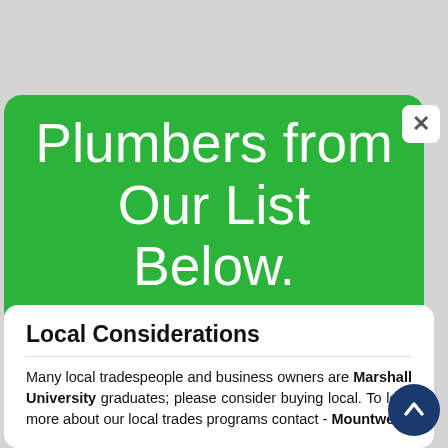Plumbers from Our List Below.
Local Considerations
Many local tradespeople and business owners are Marshall University graduates; please consider buying local. To learn more about our local trades programs contact - Mountwest